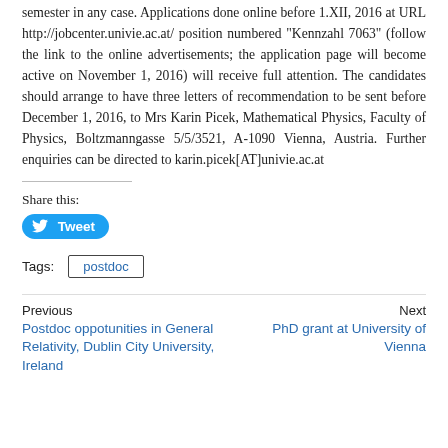semester in any case. Applications done online before 1.XII, 2016 at URL http://jobcenter.univie.ac.at/ position numbered "Kennzahl 7063" (follow the link to the online advertisements; the application page will become active on November 1, 2016) will receive full attention. The candidates should arrange to have three letters of recommendation to be sent before December 1, 2016, to Mrs Karin Picek, Mathematical Physics, Faculty of Physics, Boltzmanngasse 5/5/3521, A-1090 Vienna, Austria. Further enquiries can be directed to karin.picek[AT]univie.ac.at
Share this:
Tweet
Tags: postdoc
Previous
Postdoc oppotunities in General Relativity, Dublin City University, Ireland
Next
PhD grant at University of Vienna